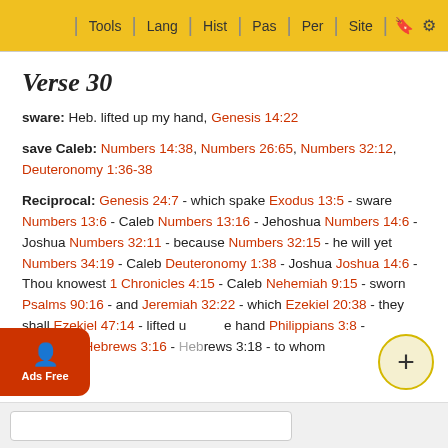Tools | Lang | Hist | Pas | Per | Site
Verse 30
sware: Heb. lifted up my hand, Genesis 14:22
save Caleb: Numbers 14:38, Numbers 26:65, Numbers 32:12, Deuteronomy 1:36-38
Reciprocal: Genesis 24:7 - which spake Exodus 13:5 - sware Numbers 13:6 - Caleb Numbers 13:16 - Jehoshua Numbers 14:6 - Joshua Numbers 32:11 - because Numbers 32:15 - he will yet Numbers 34:19 - Caleb Deuteronomy 1:38 - Joshua Joshua 14:6 - Thou knowest 1 Chronicles 4:15 - Caleb Nehemiah 9:15 - sworn Psalms 90:16 - and Jeremiah 32:22 - which Ezekiel 20:38 - they shall Ezekiel 47:14 - lifted up hand Philippians 3:8 - doubtless Hebrews 3:16 - Hebrews 3:18 - to whom